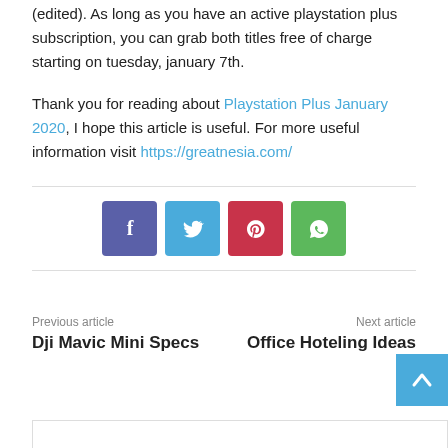(edited). As long as you have an active playstation plus subscription, you can grab both titles free of charge starting on tuesday, january 7th.
Thank you for reading about Playstation Plus January 2020, I hope this article is useful. For more useful information visit https://greatnesia.com/
[Figure (infographic): Row of four social share buttons: Facebook (purple-blue), Twitter (light blue), Pinterest (red), WhatsApp (green), each with white icon]
Previous article
Dji Mavic Mini Specs
Next article
Office Hoteling Ideas